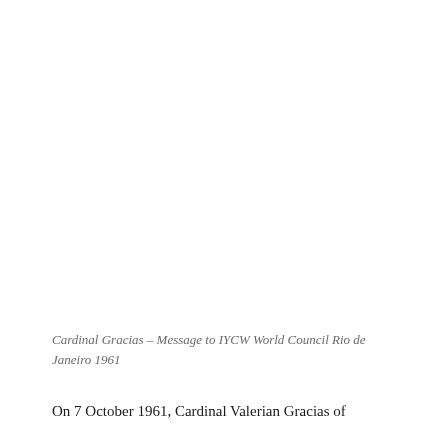Cardinal Gracias – Message to IYCW World Council Rio de Janeiro 1961
On 7 October 1961, Cardinal Valerian Gracias of